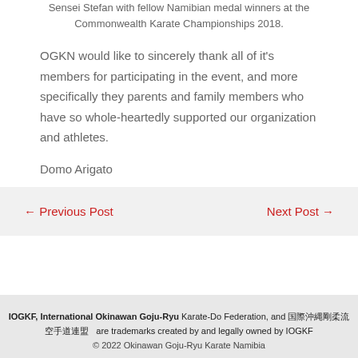Sensei Stefan with fellow Namibian medal winners at the Commonwealth Karate Championships 2018.
OGKN would like to sincerely thank all of it's members for participating in the event, and more specifically they parents and family members who have so whole-heartedly supported our organization and athletes.
Domo Arigato
← Previous Post
Next Post →
IOGKF, International Okinawan Goju-Ryu Karate-Do Federation, and 国際沖縄剛柔流 are trademarks created by and legally owned by IOGKF © 2022 Okinawan Goju-Ryu Karate Namibia